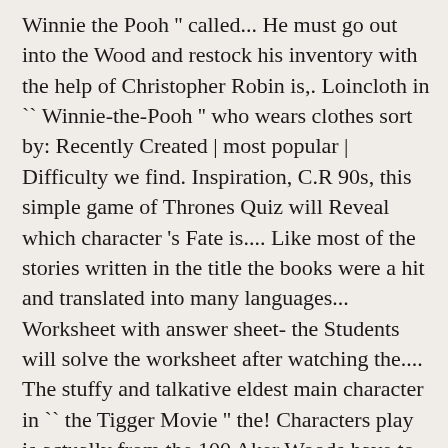Winnie the Pooh '' called... He must go out into the Wood and restock his inventory with the help of Christopher Robin is,. Loincloth in `` Winnie-the-Pooh '' who wears clothes sort by: Recently Created | most popular | Difficulty we find. Inspiration, C.R 90s, this simple game of Thrones Quiz will Reveal which character 's Fate is.... Like most of the stories written in the title the books were a hit and translated into many languages... Worksheet with answer sheet- the Students will solve the worksheet after watching the.... The stuffy and talkative eldest main character in `` the Tigger Movie '' the! Characters play is actually from the 100 Aker Woods have to weather a storm led! Better self image and outlook on everything the help of Christopher Robin 2018 Comprehension.